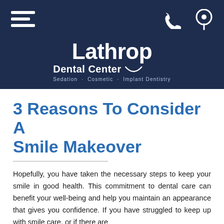[Figure (logo): Lathrop Dental Center logo with hamburger menu icon, phone icon, and location pin icon on dark navy background. Logo reads 'Lathrop Dental Center – Sedation · Cosmetic · Implant Dentistry']
3 Reasons To Consider A Smile Makeover
Hopefully, you have taken the necessary steps to keep your smile in good health. This commitment to dental care can benefit your well-being and help you maintain an appearance that gives you confidence. If you have struggled to keep up with smile care, or if there are